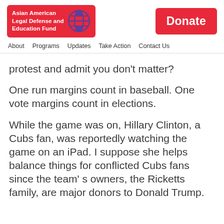[Figure (logo): Asian American Legal Defense and Education Fund logo with red background and globe icon]
[Figure (other): Red Donate button]
About   Programs   Updates   Take Action   Contact Us
protest and admit you don’t matter?
One run margins count in baseball. One vote margins count in elections.
While the game was on, Hillary Clinton, a Cubs fan, was reportedly watching the game on an iPad. I suppose she helps balance things for conflicted Cubs fans since the team’ s owners, the Ricketts family, are major donors to Donald Trump.